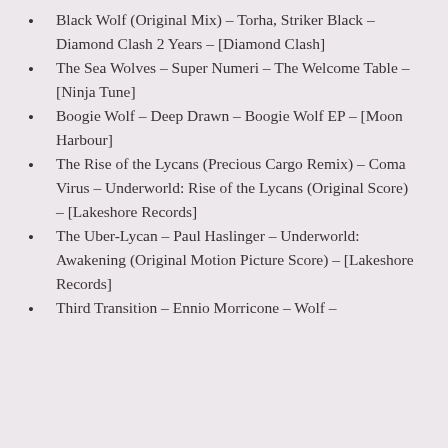Black Wolf (Original Mix) – Torha, Striker Black – Diamond Clash 2 Years – [Diamond Clash]
The Sea Wolves – Super Numeri – The Welcome Table – [Ninja Tune]
Boogie Wolf – Deep Drawn – Boogie Wolf EP – [Moon Harbour]
The Rise of the Lycans (Precious Cargo Remix) – Coma Virus – Underworld: Rise of the Lycans (Original Score) – [Lakeshore Records]
The Uber-Lycan – Paul Haslinger – Underworld: Awakening (Original Motion Picture Score) – [Lakeshore Records]
Third Transition – Ennio Morricone – Wolf –